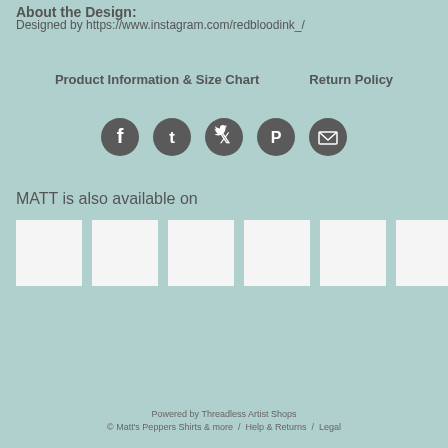About the Design:
Designed by https://www.instagram.com/redbloodink_/
Product Information & Size Chart    Return Policy
[Figure (infographic): Five social media icon circles: Facebook, Tumblr, Twitter, Pinterest, Email]
MATT is also available on
[Figure (infographic): Six white product thumbnail squares in a row]
Powered by Threadless Artist Shops
© Matt's Peppers Shirts & more  /  Help & Returns  /  Legal